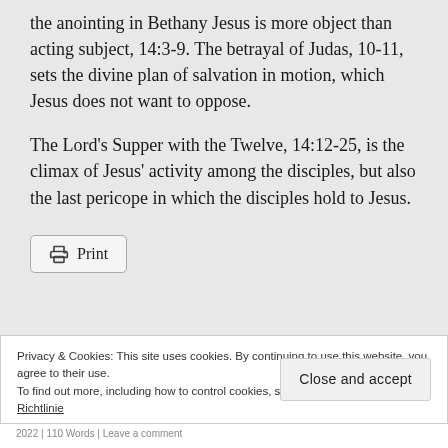the anointing in Bethany Jesus is more object than acting subject, 14:3-9. The betrayal of Judas, 10-11, sets the divine plan of salvation in motion, which Jesus does not want to oppose.
The Lord’s Supper with the Twelve, 14:12-25, is the climax of Jesus’ activity among the disciples, but also the last pericope in which the disciples hold to Jesus.
[Figure (other): Print button with printer icon]
Privacy & Cookies: This site uses cookies. By continuing to use this website, you agree to their use.
To find out more, including how to control cookies, see here: Unsere Cookie-Richtlinie
Close and accept
2022 | 110 Words | Leave a comment